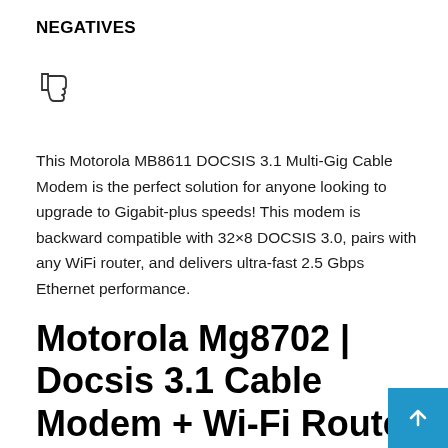NEGATIVES
[Figure (illustration): Thumbs down icon (dislike symbol)]
This Motorola MB8611 DOCSIS 3.1 Multi-Gig Cable Modem is the perfect solution for anyone looking to upgrade to Gigabit-plus speeds! This modem is backward compatible with 32×8 DOCSIS 3.0, pairs with any WiFi router, and delivers ultra-fast 2.5 Gbps Ethernet performance.
Motorola Mg8702 | Docsis 3.1 Cable Modem + Wi-Fi Router (High Speed Combo) With Intelligent Power